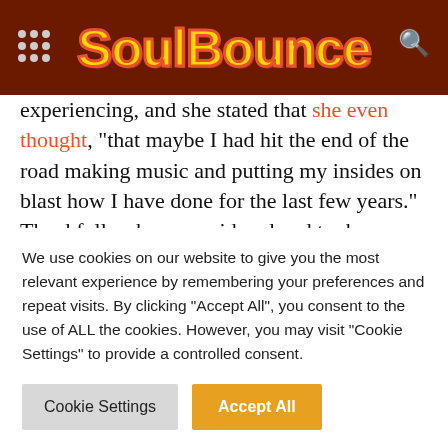SoulBounce
experiencing, and she stated that she even thought, “that maybe I had hit the end of the road making music and putting my insides on blast how I have done for the last few years.” Thankfully, she reconsidered and took some of the pressure off of herself after deciding to no longer create for the world but for herself in the midst of being isolated during the pandemic lockdown. With the support of her
We use cookies on our website to give you the most relevant experience by remembering your preferences and repeat visits. By clicking “Accept All”, you consent to the use of ALL the cookies. However, you may visit "Cookie Settings" to provide a controlled consent.